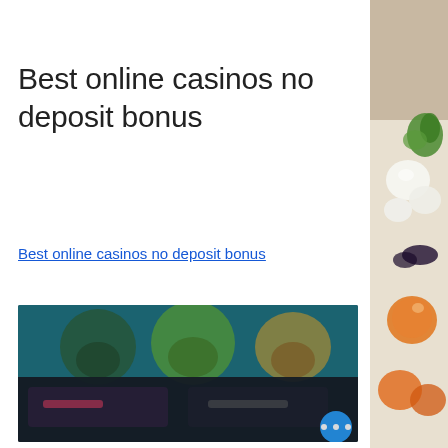Best online casinos no deposit bonus
Best online casinos no deposit bonus
[Figure (screenshot): Blurred screenshot of an online casino website showing game thumbnails with colorful characters on a dark background, with a blue circular button with three dots (…) in the bottom right corner.]
[Figure (photo): Partial view of a food photo showing colorful vegetables and garnishes on a white plate, visible on the right side column.]